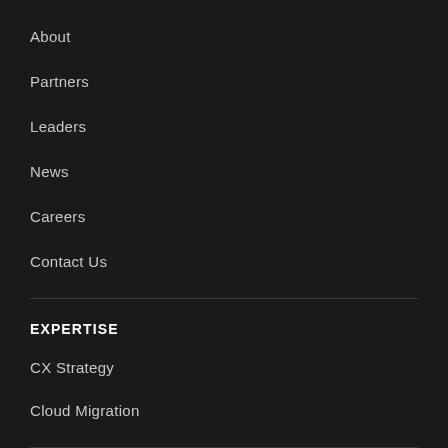About
Partners
Leaders
News
Careers
Contact Us
EXPERTISE
CX Strategy
Cloud Migration
Customer Engagement
Customer Analytics